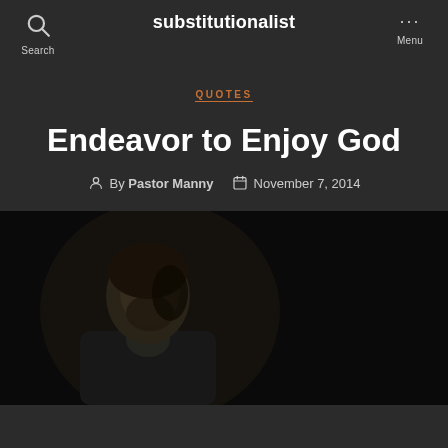substitutionalist
QUOTES
Endeavor to Enjoy God
By Pastor Manny  November 7, 2014
[Figure (photo): A dark portrait photograph showing a man with a beard, dimly lit against a very dark background, wearing what appears to be historical or formal attire.]